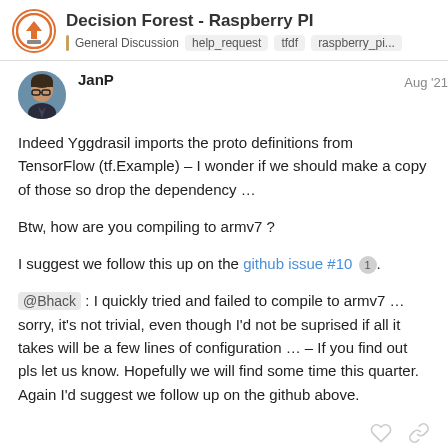Decision Forest - Raspberry PI | General Discussion | help_request | tfdf | raspberry_pi...
JanP  Aug '21
Indeed Yggdrasil imports the proto definitions from TensorFlow (tf.Example) – I wonder if we should make a copy of those so drop the dependency …

Btw, how are you compiling to armv7 ?

I suggest we follow this up on the github issue #10 1 .

@Bhack : I quickly tried and failed to compile to armv7 … sorry, it's not trivial, even though I'd not be suprised if all it takes will be a few lines of configuration … – If you find out pls let us know. Hopefully we will find some time this quarter. Again I'd suggest we follow up on the github above.